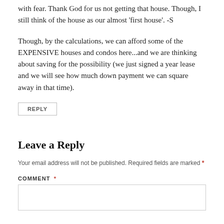with fear. Thank God for us not getting that house. Though, I still think of the house as our almost 'first house'. -S
Though, by the calculations, we can afford some of the EXPENSIVE houses and condos here...and we are thinking about saving for the possibility (we just signed a year lease and we will see how much down payment we can square away in that time).
REPLY
Leave a Reply
Your email address will not be published. Required fields are marked *
COMMENT *